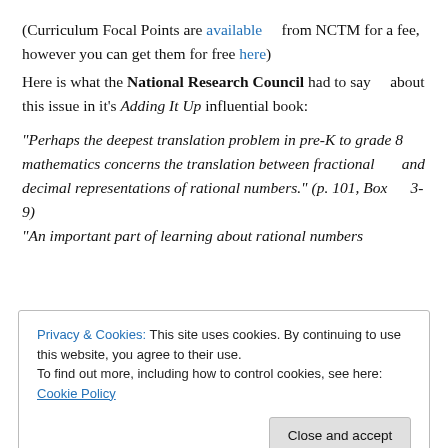(Curriculum Focal Points are available from NCTM for a fee, however you can get them for free here)
Here is what the National Research Council had to say about this issue in it's Adding It Up influential book:
"Perhaps the deepest translation problem in pre-K to grade 8 mathematics concerns the translation between fractional and decimal representations of rational numbers." (p. 101, Box 3-9) "An important part of learning about rational numbers
Privacy & Cookies: This site uses cookies. By continuing to use this website, you agree to their use. To find out more, including how to control cookies, see here: Cookie Policy
be represented in different ways, as a fraction, a